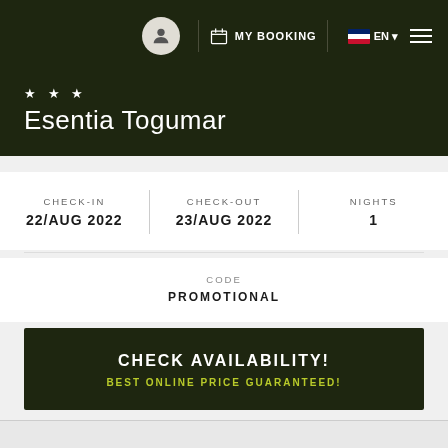MY BOOKING | EN
★ ★ ★
Esentia Togumar
CHECK-IN
22/AUG 2022
CHECK-OUT
23/AUG 2022
NIGHTS
1
CODE
PROMOTIONAL
CHECK AVAILABILITY!
BEST ONLINE PRICE GUARANTEED!